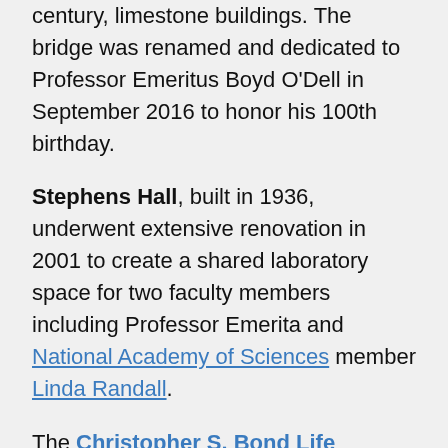century, limestone buildings. The bridge was renamed and dedicated to Professor Emeritus Boyd O'Dell in September 2016 to honor his 100th birthday.
Stephens Hall, built in 1936, underwent extensive renovation in 2001 to create a shared laboratory space for two faculty members including Professor Emerita and National Academy of Sciences member Linda Randall.
The Christopher S. Bond Life Sciences Center, a campus-wide center that houses six interdisciplinary research clusters, each focused on a common theme, is the location of laboratories for eight biochemistry faculty and three additional members of our graduate program.